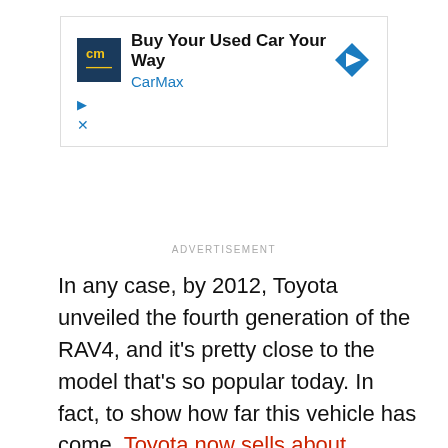[Figure (other): CarMax advertisement banner: 'Buy Your Used Car Your Way / CarMax' with CarMax logo and blue arrow diamond icon, plus play and close control icons below.]
ADVERTISEMENT
In any case, by 2012, Toyota unveiled the fourth generation of the RAV4, and it's pretty close to the model that's so popular today. In fact, to show how far this vehicle has come, Toyota now sells about 400,000 RAV4s a year, and that's just in the U.S. alone, MotorTrend reports. It's no surprise why it's been such a popular car for so long, because it has a lot